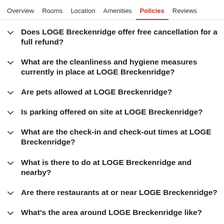Overview  Rooms  Location  Amenities  Policies  Reviews
Does LOGE Breckenridge offer free cancellation for a full refund?
What are the cleanliness and hygiene measures currently in place at LOGE Breckenridge?
Are pets allowed at LOGE Breckenridge?
Is parking offered on site at LOGE Breckenridge?
What are the check-in and check-out times at LOGE Breckenridge?
What is there to do at LOGE Breckenridge and nearby?
Are there restaurants at or near LOGE Breckenridge?
What's the area around LOGE Breckenridge like?